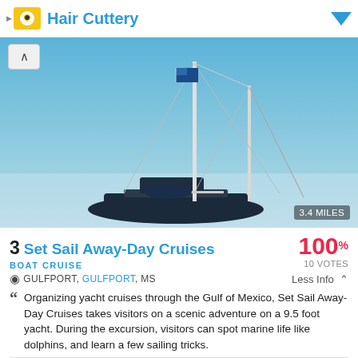Hair Cuttery
[Figure (photo): Sailboat with two masts against blue sky, blue flag visible. Distance badge shows 3.4 MILES.]
3 Set Sail Away-Day Cruises
100% 10 VOTES
BOAT CRUISE
GULFPORT, GULFPORT, MS
Less Info
Organizing yacht cruises through the Gulf of Mexico, Set Sail Away-Day Cruises takes visitors on a scenic adventure on a 9.5 foot yacht. During the excursion, visitors can spot marine life like dolphins, and learn a few sailing tricks.